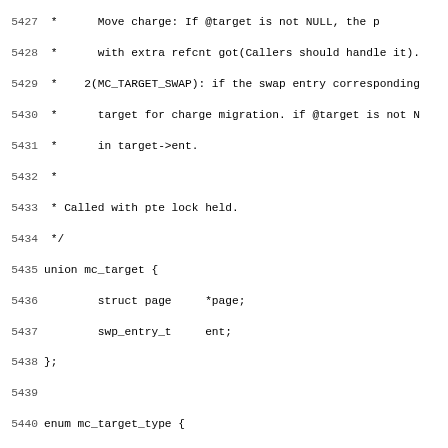Source code listing, lines 5427-5459, C kernel code showing union mc_target, enum mc_target_type, and static struct page *mc_handle_present_pte function